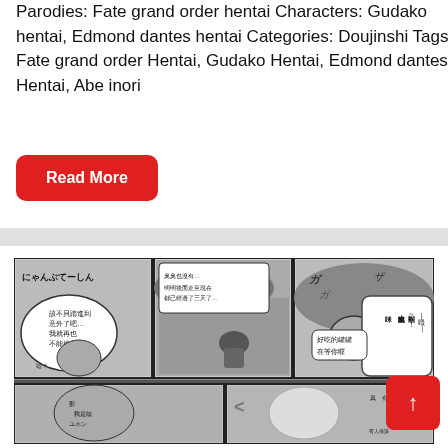Parodies: Fate grand order hentai Characters: Gudako hentai, Edmond dantes hentai Categories: Doujinshi Tags: Fate grand order Hentai, Gudako Hentai, Edmond dantes Hentai, Abe inori
[Figure (illustration): A manga comic page showing multiple panels with Japanese/Chinese text speech bubbles. Characters are drawn in black and white manga style. Top row has three panels showing a character waking up or resting, a person crouching outdoors, and a character with speech bubbles. Bottom row shows partial panels with additional characters.]